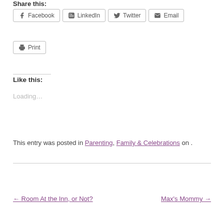Share this:
Facebook  LinkedIn  Twitter  Email
Print
Like this:
Loading...
This entry was posted in Parenting, Family & Celebrations on .
← Room At the Inn, or Not?    Max's Mommy →